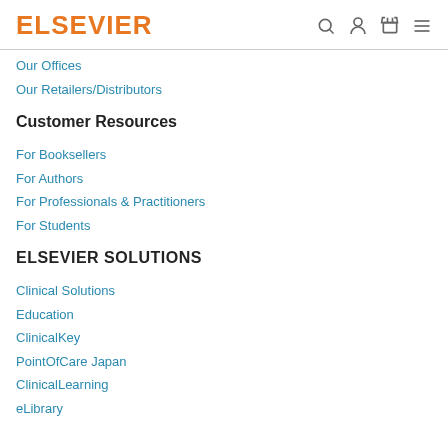ELSEVIER
Our Offices
Our Retailers/Distributors
Customer Resources
For Booksellers
For Authors
For Professionals & Practitioners
For Students
ELSEVIER SOLUTIONS
Clinical Solutions
Education
ClinicalKey
PointOfCare Japan
ClinicalLearning
eLibrary